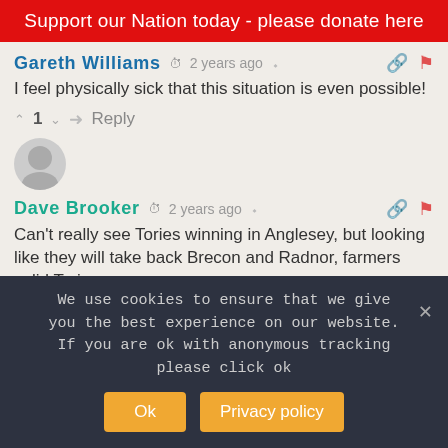Support our Nation today - please donate here
Gareth Williams · 2 years ago
I feel physically sick that this situation is even possible!
↑ 1 ↓ Reply
Dave Brooker · 2 years ago
Can't really see Tories winning in Anglesey, but looking like they will take back Brecon and Radnor, farmers solid Tories
↑ 1 ↓ Reply
We use cookies to ensure that we give you the best experience on our website. If you are ok with anonymous tracking please click ok
Ok  Privacy policy